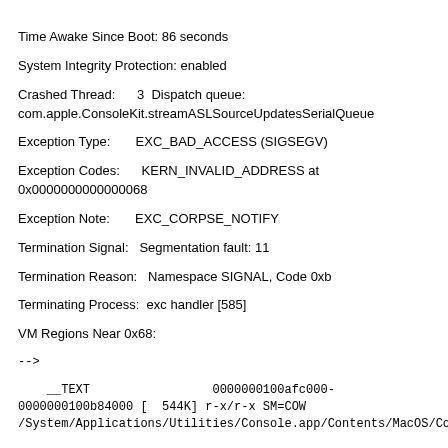Time Awake Since Boot: 86 seconds
System Integrity Protection: enabled
Crashed Thread:      3  Dispatch queue: com.apple.ConsoleKit.streamASLSourceUpdatesSerialQueue
Exception Type:       EXC_BAD_ACCESS (SIGSEGV)
Exception Codes:      KERN_INVALID_ADDRESS at 0x0000000000000068
Exception Note:       EXC_CORPSE_NOTIFY
Termination Signal:   Segmentation fault: 11
Termination Reason:   Namespace SIGNAL, Code 0xb
Terminating Process:  exc handler [585]
VM Regions Near 0x68:
-->
__TEXT                 0000000100afc000-0000000100b84000 [  544K] r-x/r-x SM=COW  /System/Applications/Utilities/Console.app/Contents/MacOS/Console
Application Specific Information: